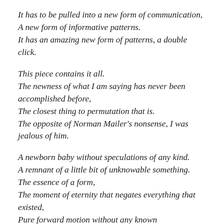It has to be pulled into a new form of communication, A new form of informative patterns. It has an amazing new form of patterns, a double click.
This piece contains it all. The newness of what I am saying has never been accomplished before, The closest thing to permutation that is. The opposite of Norman Mailer's nonsense, I was jealous of him.
A newborn baby without speculations of any kind. A remnant of a little bit of unknowable something. The essence of a form, The moment of eternity that negates everything that existed, Pure forward motion without any known obstructions,